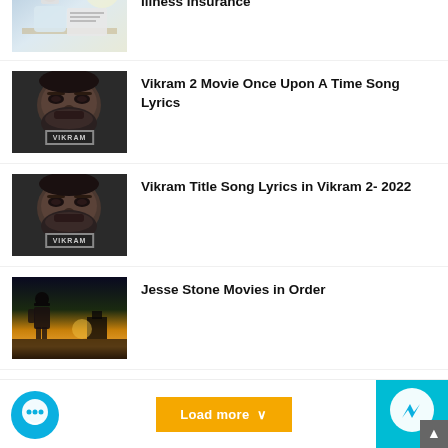The Difference Between Terminal and Critical Illness Insurance
Vikram 2 Movie Once Upon A Time Song Lyrics
Vikram Title Song Lyrics in Vikram 2- 2022
Jesse Stone Movies in Order
[Figure (other): Load more button with chat and messenger icons at bottom of page]